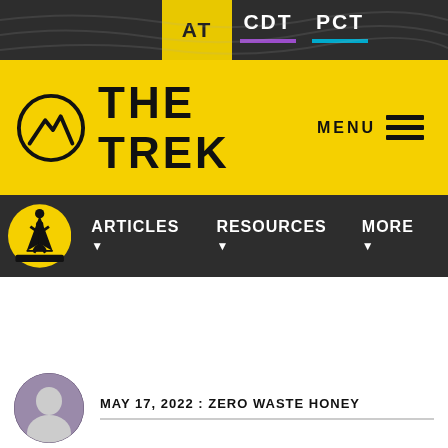AT | CDT | PCT
THE TREK
MENU
ARTICLES ▼  RESOURCES ▼  MORE ▼
MAY 17, 2022 : ZERO WASTE HONEY